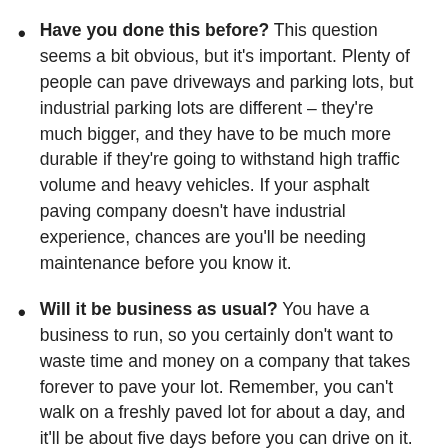Have you done this before? This question seems a bit obvious, but it's important. Plenty of people can pave driveways and parking lots, but industrial parking lots are different – they're much bigger, and they have to be much more durable if they're going to withstand high traffic volume and heavy vehicles. If your asphalt paving company doesn't have industrial experience, chances are you'll be needing maintenance before you know it.
Will it be business as usual? You have a business to run, so you certainly don't want to waste time and money on a company that takes forever to pave your lot. Remember, you can't walk on a freshly paved lot for about a day, and it'll be about five days before you can drive on it. Ask up front how long the job will take, and make sure the paving company will clean up the job site after work each day so that the ongoing mess